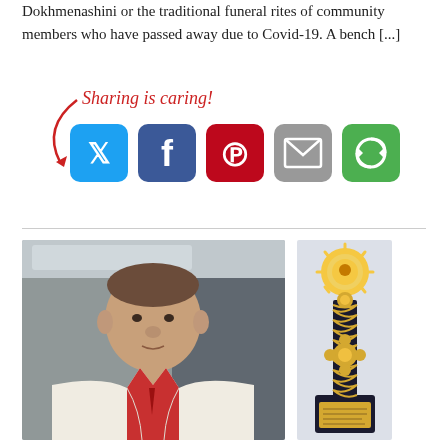Dokhmenashini or the traditional funeral rites of community members who have passed away due to Covid-19. A bench [...]
[Figure (infographic): Sharing is caring! social share buttons: Twitter (blue), Facebook (dark blue), Pinterest (red), Email (gray), More (green)]
[Figure (photo): Two photos side by side: left shows a man in a white jacket and red shirt, right shows a trophy/award with a sun-burst top on a dark column with a base plaque.]